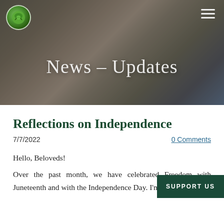[Figure (photo): Hero banner with background photo of hands joined together in a circle, with dark green overlay. Shows website navigation with a circular green logo on the left and hamburger menu icon on the right.]
News - Updates
Reflections on Independence
7/7/2022
0 Comments
Hello, Beloveds!
Over the past month, we have celebrated Freedom with Juneteenth and with the Independence Day. I'm not sure
SUPPORT US